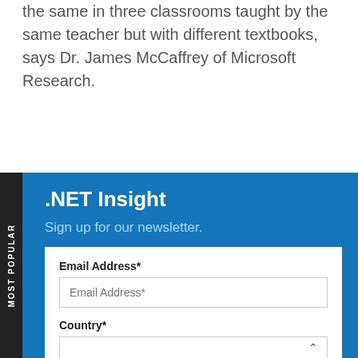the same in three classrooms taught by the same teacher but with different textbooks, says Dr. James McCaffrey of Microsoft Research.
.NET Insight
Sign up for our newsletter.
Email Address*
Country*